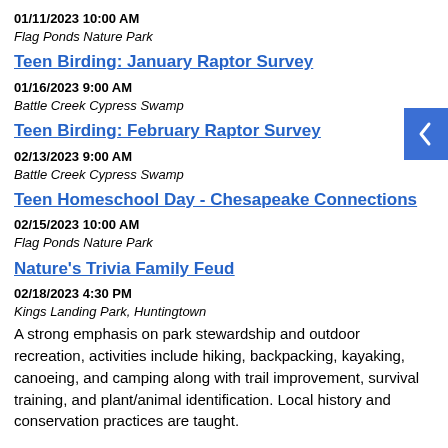01/11/2023 10:00 AM
Flag Ponds Nature Park
Teen Birding: January Raptor Survey
01/16/2023 9:00 AM
Battle Creek Cypress Swamp
Teen Birding: February Raptor Survey
02/13/2023 9:00 AM
Battle Creek Cypress Swamp
Teen Homeschool Day - Chesapeake Connections
02/15/2023 10:00 AM
Flag Ponds Nature Park
Nature's Trivia Family Feud
02/18/2023 4:30 PM
Kings Landing Park, Huntingtown
A strong emphasis on park stewardship and outdoor recreation, activities include hiking, backpacking, kayaking, canoeing, and camping along with trail improvement, survival training, and plant/animal identification. Local history and conservation practices are taught.